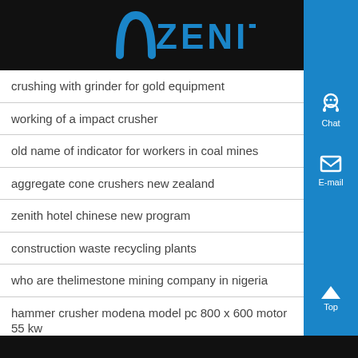ZENIT
crushing with grinder for gold equipment
working of a impact crusher
old name of indicator for workers in coal mines
aggregate cone crushers new zealand
zenith hotel chinese new program
construction waste recycling plants
who are thelimestone mining company in nigeria
hammer crusher modena model pc 800 x 600 motor 55 kw
cement low volatile coal